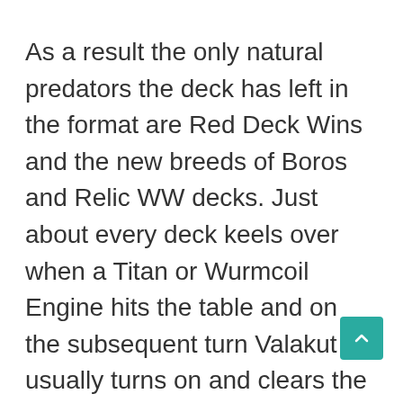As a result the only natural predators the deck has left in the format are Red Deck Wins and the new breeds of Boros and Relic WW decks. Just about every deck keels over when a Titan or Wurmcoil Engine hits the table and on the subsequent turn Valakut usually turns on and clears the board or kills the opponent. When every deck left-over is a slower type of aggro deck or falls under the midrange moniker, then a deck that does away with any of the early threats and instead just